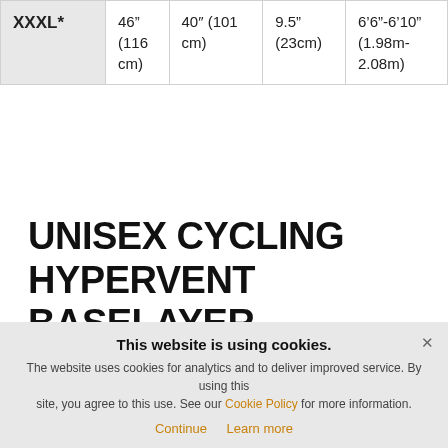| Size | Chest | Waist | Shoe Size | Height |
| --- | --- | --- | --- | --- |
| XXXL* | 46” (116 cm) | 40” (101 cm) | 9.5” (23cm) | 6’6”-6’10” (1.98m-2.08m) |
UNISEX CYCLING HYPERVENT BASELAYER
The Cycling Hypervent Baselayer is designed to be a fitted garment. Please take this into consideration when choosing your size.
This website is using cookies. The website uses cookies for analytics and to deliver improved service. By using this site, you agree to this use. See our Cookie Policy for more information. Continue  Learn more